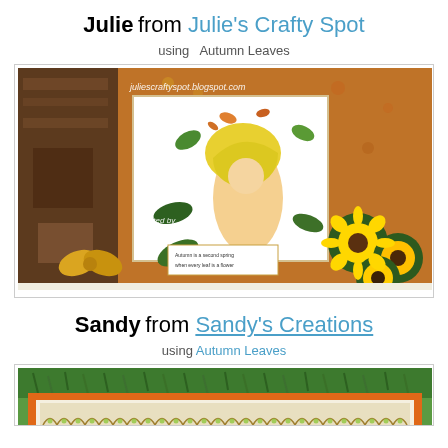Julie from Julie's Crafty Spot
using  Autumn Leaves
[Figure (photo): Handmade autumn-themed craft card featuring a child in a yellow bonnet surrounded by sunflowers and leaves, with text 'juliescraftyspot.blogspot.com' and 'Created by Julie T']
Sandy from Sandy's Creations
using Autumn Leaves
[Figure (photo): Partial view of a craft card with green grass background and orange border with decorative lace-style strip at the bottom]